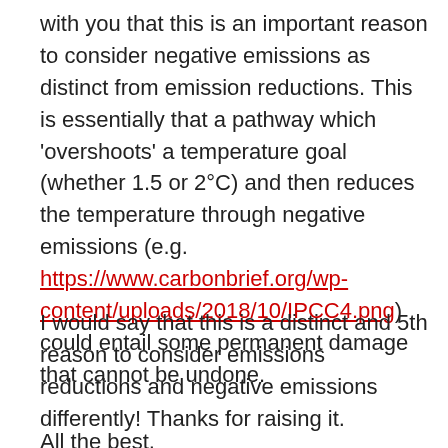with you that this is an important reason to consider negative emissions as distinct from emission reductions. This is essentially that a pathway which 'overshoots' a temperature goal (whether 1.5 or 2°C) and then reduces the temperature through negative emissions (e.g. https://www.carbonbrief.org/wp-content/uploads/2018/10/IPCC4.png) could entail some permanent damage that cannot be undone.
I would say that this is a distinct and 5th reason to consider emissions reductions and negative emissions differently! Thanks for raising it.
All the best,